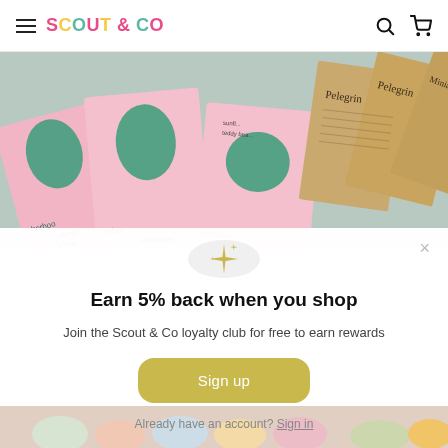Scout & Co — navigation header with hamburger menu, logo, search and cart icons
[Figure (photo): Collage of pink seed packets with green botanical illustrations labeled 'herboo' and 'sunflower teddy bear', alongside kraft paper Pelegrino packets]
Earn 5% back when you shop
Join the Scout & Co loyalty club for free to earn rewards
Sign up
Already have an account? Sign in